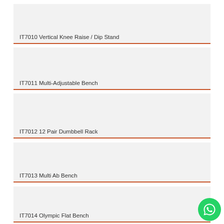IT7010 Vertical Knee Raise / Dip Stand
IT7011 Multi-Adjustable Bench
IT7012 12 Pair Dumbbell Rack
IT7013 Multi Ab Bench
IT7014 Olympic Flat Bench
[Figure (logo): WhatsApp green phone icon in bottom right corner]